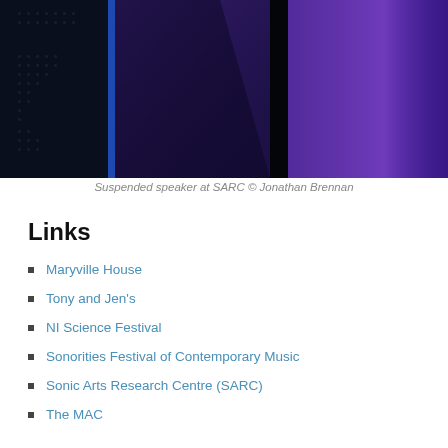[Figure (photo): Dark photograph of suspended loudspeakers illuminated with blue and purple lighting at SARC (Sonic Arts Research Centre). The speakers appear as large rectangular shapes against a very dark background.]
Suspended speaker at SARC © Jonathan Brennan
Links
Maryville House
Tony and Jen's
NI Science Festival
Sonorities Festival of Contemporary Music
Sonic Arts Research Centre (SARC)
The MAC